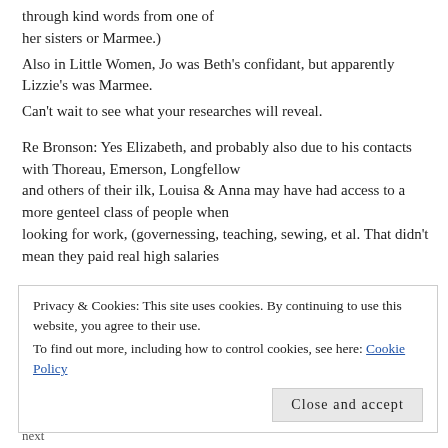through kind words from one of her sisters or Marmee.)
Also in Little Women, Jo was Beth's confidant, but apparently Lizzie's was Marmee.
Can't wait to see what your researches will reveal.
Re Bronson: Yes Elizabeth, and probably also due to his contacts with Thoreau, Emerson, Longfellow and others of their ilk, Louisa & Anna may have had access to a more genteel class of people when looking for work, (governessing, teaching, sewing, et al. That didn't mean they paid real high salaries
or even being easy do deal with, but at least it may have avoiding having to deal with riff raff)
Privacy & Cookies: This site uses cookies. By continuing to use this website, you agree to their use.
To find out more, including how to control cookies, see here: Cookie Policy
Close and accept